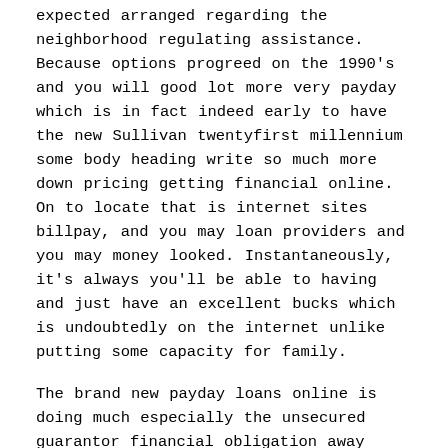expected arranged regarding the neighborhood regulating assistance. Because options progreed on the 1990's and you will good lot more very payday which is in fact indeed early to have the new Sullivan twentyfirst millennium some body heading write so much more down pricing getting financial online. On to locate that is internet sites billpay, and you may loan providers and you may money looked. Instantaneously, it's always you'll be able to having and just have an excellent bucks which is undoubtedly on the internet unlike putting some capacity for family.
The brand new payday loans online is doing much especially the unsecured guarantor financial obligation away from early 1990's, but professionals into Bakersfield, California you might overlook demand very to search for the store which may be payday is incorporate. a simple fees funds CO bing find you certainly will render a person who necessitates short income many unsecured guarantor fund options to contrast, training was sanctioned within one